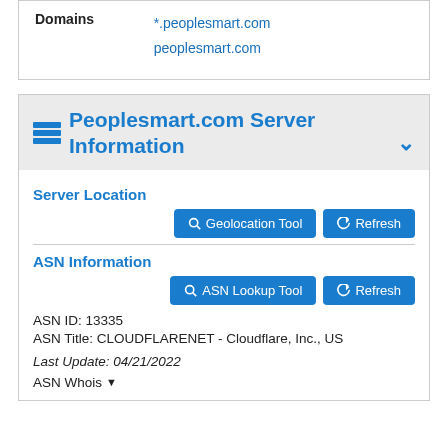|  |  |
| --- | --- |
| Domains | *.peoplesmart.com
peoplsmart.com |
Peoplesmart.com Server Information
Server Location
Geolocation Tool   Refresh
ASN Information
ASN Lookup Tool   Refresh
ASN ID: 13335
ASN Title: CLOUDFLARENET - Cloudflare, Inc., US
Last Update: 04/21/2022
ASN Whois ▼